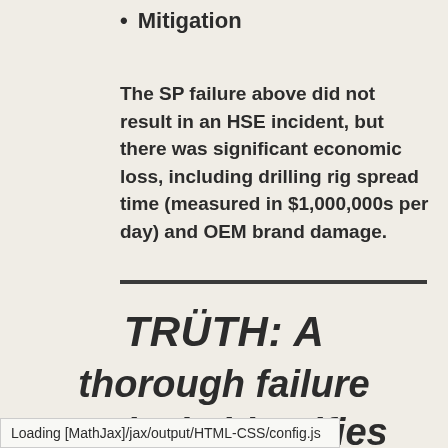Mitigation
The SP failure above did not result in an HSE incident, but there was significant economic loss, including drilling rig spread time (measured in $1,000,000s per day) and OEM brand damage.
TRÜTH: A thorough failure analysis identifies
Loading [MathJax]/jax/output/HTML-CSS/config.js